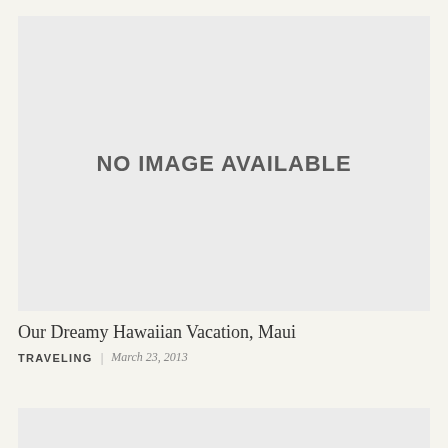[Figure (other): Placeholder image area with 'NO IMAGE AVAILABLE' text on light gray background]
Our Dreamy Hawaiian Vacation, Maui
TRAVELING | March 23, 2013
[Figure (other): Partial placeholder image area at bottom of page, light gray background]